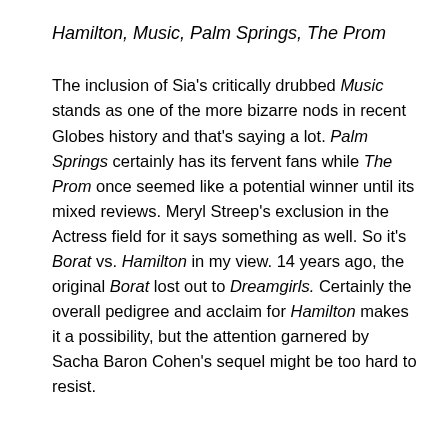Hamilton, Music, Palm Springs, The Prom
The inclusion of Sia's critically drubbed Music stands as one of the more bizarre nods in recent Globes history and that's saying a lot. Palm Springs certainly has its fervent fans while The Prom once seemed like a potential winner until its mixed reviews. Meryl Streep's exclusion in the Actress field for it says something as well. So it's Borat vs. Hamilton in my view. 14 years ago, the original Borat lost out to Dreamgirls. Certainly the overall pedigree and acclaim for Hamilton makes it a possibility, but the attention garnered by Sacha Baron Cohen's sequel might be too hard to resist.